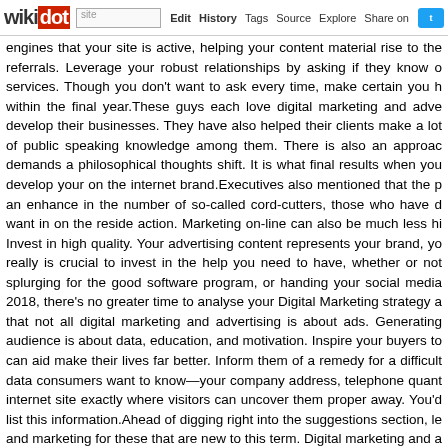wikidot | site | Edit | History | Tags | Source | Explore | Share on [Twitter]
engines that your site is active, helping your content material rise to the referrals. Leverage your robust relationships by asking if they know o services. Though you don't want to ask every time, make certain you h within the final year.These guys each love digital marketing and adve develop their businesses. They have also helped their clients make a lot of public speaking knowledge among them. There is also an approac demands a philosophical thoughts shift. It is what final results when you develop your on the internet brand.Executives also mentioned that the p an enhance in the number of so-called cord-cutters, those who have d want in on the reside action. Marketing on-line can also be much less hi Invest in high quality. Your advertising content represents your brand, yo really is crucial to invest in the help you need to have, whether or not splurging for the good software program, or handing your social media 2018, there's no greater time to analyse your Digital Marketing strategy a that not all digital marketing and advertising is about ads. Generating audience is about data, education, and motivation. Inspire your buyers to can aid make their lives far better. Inform them of a remedy for a difficult data consumers want to know—your company address, telephone quant internet site exactly where visitors can uncover them proper away. You'd list this information.Ahead of digging right into the suggestions section, le and marketing for these that are new to this term. Digital marketing and a is executed via the Web and electronic devices. It has a number of pillar search engine marketing (SEM), social media advertising, content mark and banner advertising. read this post here Television ads are unspecific social media and e-mail marketing, we are so used to getting marketed a we blatantly ignore every thing that is not remotely relevant to us.Even v optimize for voice search , you may locate it tough to hold up with th evolving digital marketing and advertising landscape. That is where v confirmed procedure of creating data driven choices to establish your